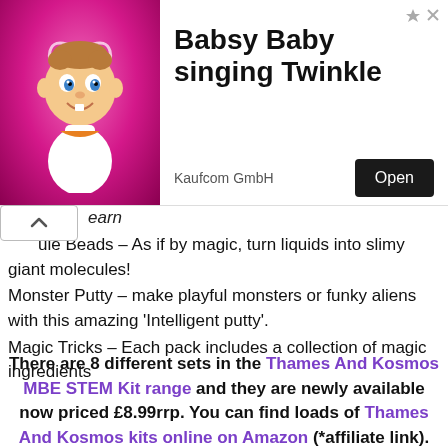[Figure (screenshot): Advertisement banner for 'Babsy Baby singing Twinkle' by Kaufcom GmbH with cartoon baby image, Open button, and ad icons]
...ule Beads – As if by magic, turn liquids into slimy giant molecules!
Monster Putty – make playful monsters or funky aliens with this amazing 'Intelligent putty'.
Magic Tricks – Each pack includes a collection of magic ingredients
There are 8 different sets in the Thames And Kosmos MBE STEM Kit range and they are newly available now priced £8.99rrp. You can find loads of Thames And Kosmos kits online on Amazon (*affiliate link).